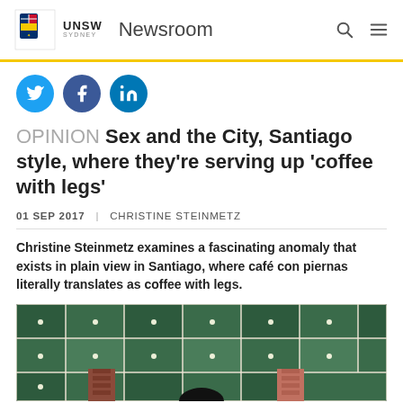UNSW Sydney Newsroom
[Figure (logo): UNSW Sydney logo with coat of arms]
OPINION Sex and the City, Santiago style, where they're serving up 'coffee with legs'
01 SEP 2017 | CHRISTINE STEINMETZ
Christine Steinmetz examines a fascinating anomaly that exists in plain view in Santiago, where café con piernas literally translates as coffee with legs.
[Figure (photo): Interior photo of a café with a decorative ceiling featuring a geometric pattern of dark green and grey panels with embedded lights, and brick columns visible.]